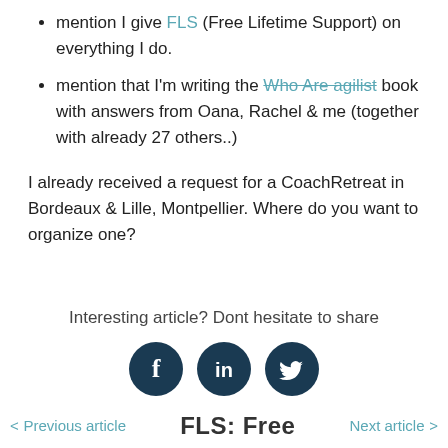mention I give FLS (Free Lifetime Support) on everything I do.
mention that I'm writing the Who Are agilist book with answers from Oana, Rachel & me (together with already 27 others..)
I already received a request for a CoachRetreat in Bordeaux & Lille, Montpellier. Where do you want to organize one?
Interesting article? Dont hesitate to share
[Figure (infographic): Three circular social media icons: Facebook (f), LinkedIn (in), Twitter (bird icon), dark teal color]
< Previous article   FLS: Free   Next article >